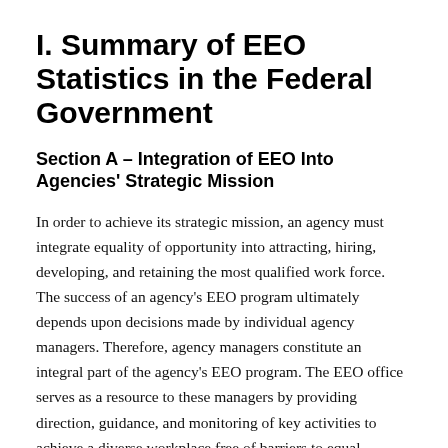I. Summary of EEO Statistics in the Federal Government
Section A – Integration of EEO Into Agencies' Strategic Mission
In order to achieve its strategic mission, an agency must integrate equality of opportunity into attracting, hiring, developing, and retaining the most qualified work force. The success of an agency's EEO program ultimately depends upon decisions made by individual agency managers. Therefore, agency managers constitute an integral part of the agency's EEO program. The EEO office serves as a resource to these managers by providing direction, guidance, and monitoring of key activities to achieve a diverse workplace free of barriers to equal